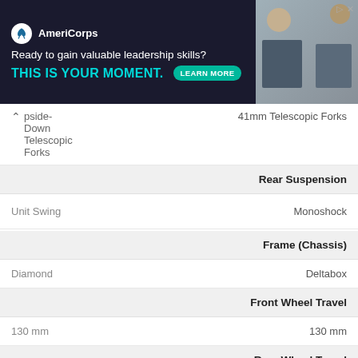[Figure (photo): AmeriCorps advertisement banner. Dark navy background. AmeriCorps logo with white circle icon. Text: 'Ready to gain valuable leadership skills? THIS IS YOUR MOMENT.' with teal LEARN MORE button. Photo of people on right side.]
|  |  |
| --- | --- |
| Upside-Down Telescopic Forks | 41mm Telescopic Forks |
| Rear Suspension | Rear Suspension |
| Unit Swing | Monoshock |
| Frame (Chassis) | Frame (Chassis) |
| Diamond | Deltabox |
| Front Wheel Travel | Front Wheel Travel |
| 130 mm | 130 mm |
| Rear Wheel Travel | Rear Wheel Travel |
| 110 mm | 97 mm |
MISCELLANEOUS INFORMATION